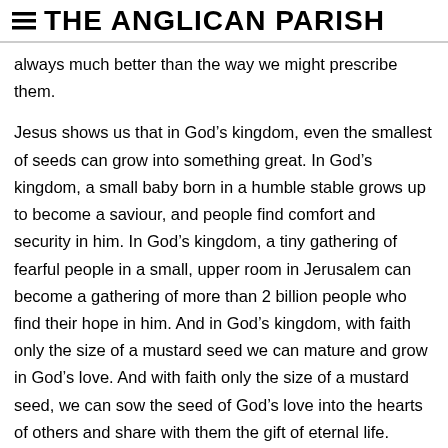THE ANGLICAN PARISH
always much better than the way we might prescribe them.
Jesus shows us that in God’s kingdom, even the smallest of seeds can grow into something great. In God’s kingdom, a small baby born in a humble stable grows up to become a saviour, and people find comfort and security in him. In God’s kingdom, a tiny gathering of fearful people in a small, upper room in Jerusalem can become a gathering of more than 2 billion people who find their hope in him. And in God’s kingdom, with faith only the size of a mustard seed we can mature and grow in God’s love. And with faith only the size of a mustard seed, we can sow the seed of God’s love into the hearts of others and share with them the gift of eternal life.